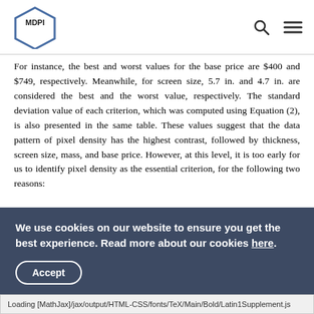MDPI [logo]
For instance, the best and worst values for the base price are $400 and $749, respectively. Meanwhile, for screen size, 5.7 in. and 4.7 in. are considered the best and the worst value, respectively. The standard deviation value of each criterion, which was computed using Equation (2), is also presented in the same table. These values suggest that the data pattern of pixel density has the highest contrast, followed by thickness, screen size, mass, and base price. However, at this level, it is too early for us to identify pixel density as the essential criterion, for the following two reasons:
Table 2. Normalized decision matrix.
We use cookies on our website to ensure you get the best experience. Read more about our cookies here.
Accept
Loading [MathJax]/jax/output/HTML-CSS/fonts/TeX/Main/Bold/Latin1Supplement.js